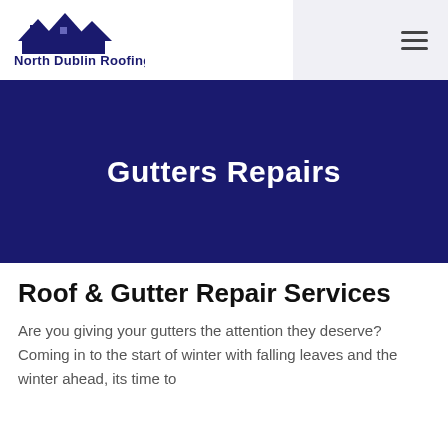[Figure (logo): North Dublin Roofing logo with rooftop/house silhouette in dark blue and the text 'North Dublin Roofing']
Gutters Repairs
Roof & Gutter Repair Services
Are you giving your gutters the attention they deserve? Coming in to the start of winter with falling leaves and the winter ahead, its time to